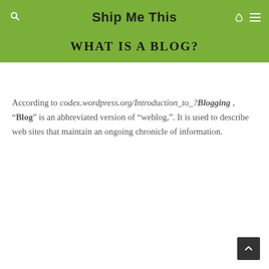Ship Me This
WHAT IS A BLOG?
According to codex.wordpress.org/Introduction_to_?Blogging , “Blog” is an abbreviated version of “weblog,”. It is used to describe web sites that maintain an ongoing chronicle of information.